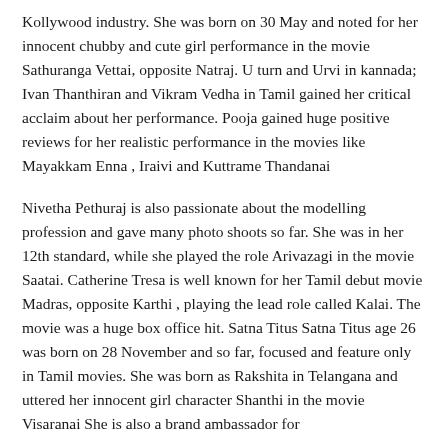Kollywood industry. She was born on 30 May and noted for her innocent chubby and cute girl performance in the movie Sathuranga Vettai, opposite Natraj. U turn and Urvi in kannada; Ivan Thanthiran and Vikram Vedha in Tamil gained her critical acclaim about her performance. Pooja gained huge positive reviews for her realistic performance in the movies like Mayakkam Enna , Iraivi and Kuttrame Thandanai
Nivetha Pethuraj is also passionate about the modelling profession and gave many photo shoots so far. She was in her 12th standard, while she played the role Arivazagi in the movie Saatai. Catherine Tresa is well known for her Tamil debut movie Madras, opposite Karthi , playing the lead role called Kalai. The movie was a huge box office hit. Satna Titus Satna Titus age 26 was born on 28 November and so far, focused and feature only in Tamil movies. She was born as Rakshita in Telangana and uttered her innocent girl character Shanthi in the movie Visaranai She is also a brand ambassador for